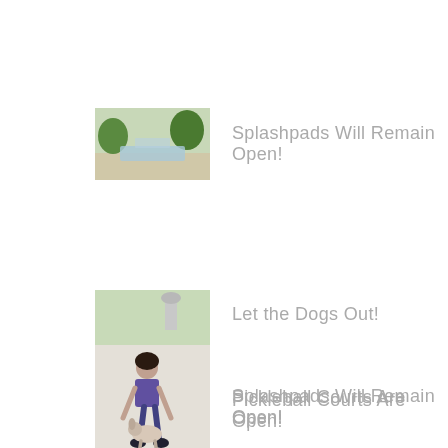[Figure (photo): Thumbnail image of a splashpad outdoor water feature area with greenery]
Splashpads Will Remain Open!
[Figure (photo): Thumbnail image of pickleball courts with blue surface]
Pickleball Courts Are Open!
[Figure (photo): Thumbnail image of a person bending down with a dog on a sidewalk]
Let the Dogs Out!